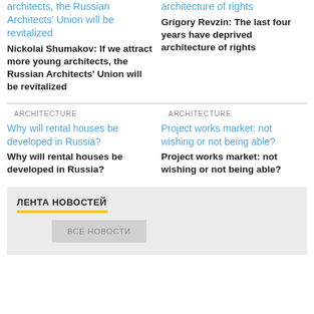architects, the Russian Architects' Union will be revitalized
Nickolai Shumakov: If we attract more young architects, the Russian Architects' Union will be revitalized
architecture of rights
Grigory Revzin: The last four years have deprived architecture of rights
ARCHITECTURE
ARCHITECTURE
[Figure (photo): Image placeholder for Why will rental houses be developed in Russia?]
Why will rental houses be developed in Russia?
Why will rental houses be developed in Russia?
[Figure (photo): Image placeholder for Project works market: not wishing or not being able?]
Project works market: not wishing or not being able?
Project works market: not wishing or not being able?
ЛЕНТА НОВОСТЕЙ
ВСЕ НОВОСТИ